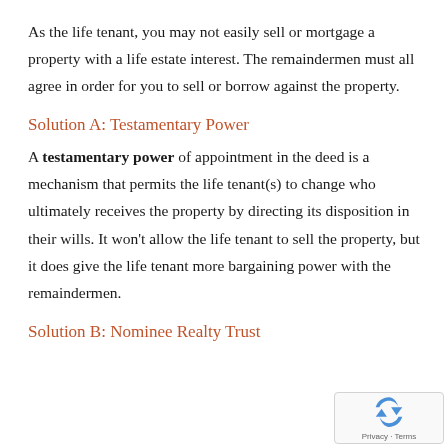As the life tenant, you may not easily sell or mortgage a property with a life estate interest. The remaindermen must all agree in order for you to sell or borrow against the property.
Solution A: Testamentary Power
A testamentary power of appointment in the deed is a mechanism that permits the life tenant(s) to change who ultimately receives the property by directing its disposition in their wills. It won’t allow the life tenant to sell the property, but it does give the life tenant more bargaining power with the remaindermen.
Solution B: Nominee Realty Trust